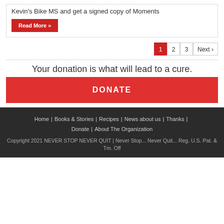Kevin's Bike MS and get a signed copy of Moments
Read More »
1  2  3  Next ›
Your donation is what will lead to a cure.
DONATE
Home | Books & Stories | Recipes | News about us | Thanks | Donate | About The Organization
Copyright 2021 NEVER STOP NEVER QUIT | Never Stop... Never Quit... Reg. U.S. Pat. & Tm. Off